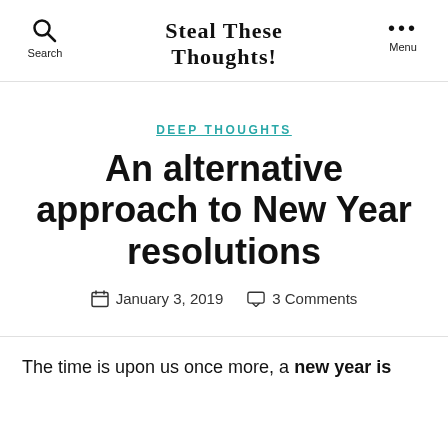Steal These Thoughts!
DEEP THOUGHTS
An alternative approach to New Year resolutions
January 3, 2019   3 Comments
The time is upon us once more, a new year is